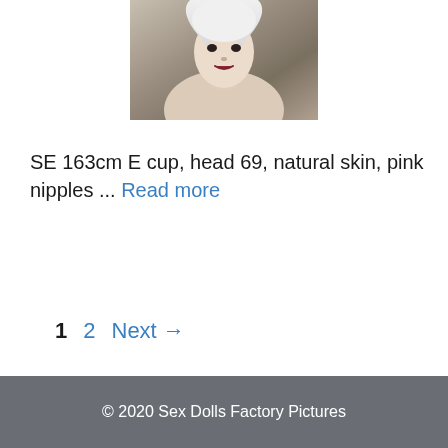[Figure (photo): Photo of a doll with white hair, partially visible face and upper body]
SE 163cm E cup, head 69, natural skin, pink nipples ... Read more
1  2  Next →
© 2020 Sex Dolls Factory Pictures